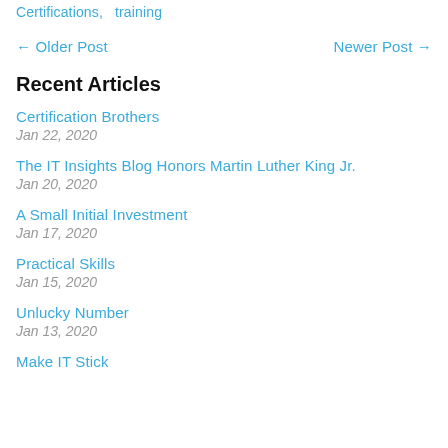Certifications,   training
← Older Post    Newer Post →
Recent Articles
Certification Brothers
Jan 22, 2020
The IT Insights Blog Honors Martin Luther King Jr.
Jan 20, 2020
A Small Initial Investment
Jan 17, 2020
Practical Skills
Jan 15, 2020
Unlucky Number
Jan 13, 2020
Make IT Stick